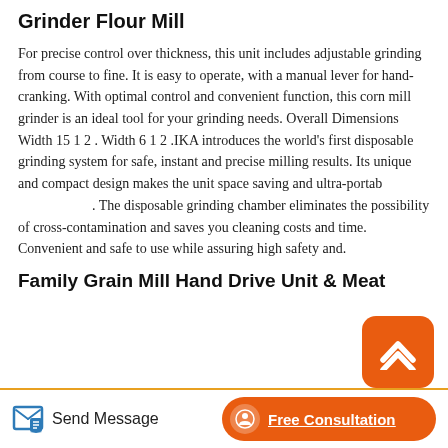Grinder Flour Mill
For precise control over thickness, this unit includes adjustable grinding from course to fine. It is easy to operate, with a manual lever for hand-cranking. With optimal control and convenient function, this corn mill grinder is an ideal tool for your grinding needs. Overall Dimensions Width 15 1 2 . Width 6 1 2 .IKA introduces the world's first disposable grinding system for safe, instant and precise milling results. Its unique and compact design makes the unit space saving and ultra-portable. The disposable grinding chamber eliminates the possibility of cross-contamination and saves you cleaning costs and time. Convenient and safe to use while assuring high safety and.
Family Grain Mill Hand Drive Unit & Meat
Send Message
Free Consultation